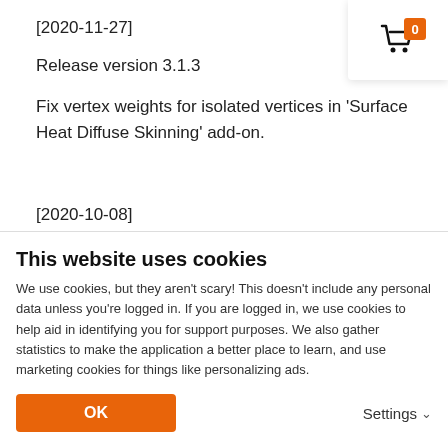[2020-11-27]
Release version 3.1.3
Fix vertex weights for isolated vertices in 'Surface Heat Diffuse Skinning' add-on.
[2020-10-08]
Release version 3.1.2
[Figure (other): Shopping cart icon with orange badge showing count 0]
This website uses cookies
We use cookies, but they aren't scary! This doesn't include any personal data unless you're logged in. If you are logged in, we use cookies to help aid in identifying you for support purposes. We also gather statistics to make the application a better place to learn, and use marketing cookies for things like personalizing ads.
OK
Settings